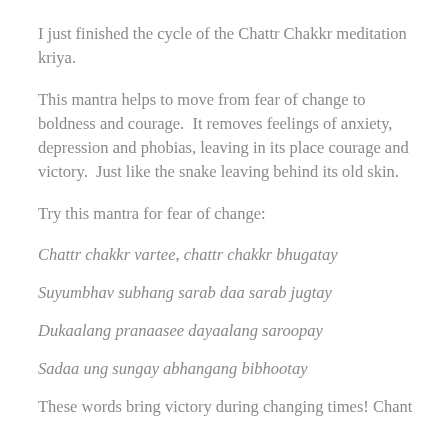I just finished the cycle of the Chattr Chakkr meditation kriya.
This mantra helps to move from fear of change to boldness and courage.  It removes feelings of anxiety, depression and phobias, leaving in its place courage and victory.  Just like the snake leaving behind its old skin.
Try this mantra for fear of change:
Chattr chakkr vartee, chattr chakkr bhugatay
Suyumbhav subhang sarab daa sarab jugtay
Dukaalang pranaasee dayaalang saroopay
Sadaa ung sungay abhangang bibhootay
These words bring victory during changing times! Chant